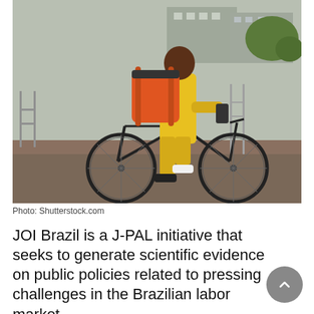[Figure (photo): A person wearing a yellow rainsuit and carrying a large orange delivery backpack, standing astride a bicycle on an urban street, looking at a phone. Buildings and metal barriers visible in the background.]
Photo: Shutterstock.com
JOI Brazil is a J-PAL initiative that seeks to generate scientific evidence on public policies related to pressing challenges in the Brazilian labor market.